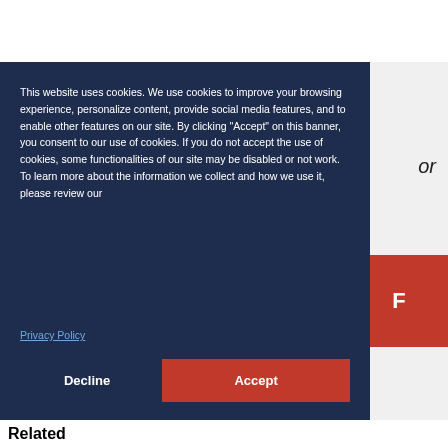This website uses cookies. We use cookies to improve your browsing experience, personalize content, provide social media features, and to enable other features on our site. By clicking “Accept” on this banner, you consent to our use of cookies. If you do not accept the use of cookies, some functionalities of our site may be disabled or not work. To learn more about the information we collect and how we use it, please review our
Privacy Policy
Decline
Accept
Related